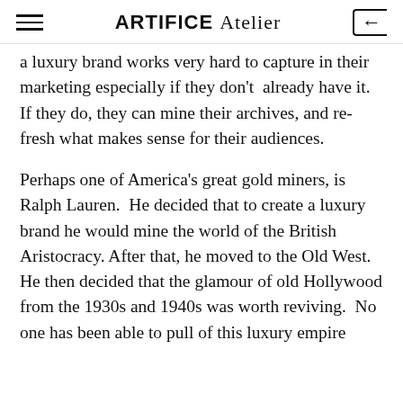ARTIFICE Atelier
a luxury brand works very hard to capture in their marketing especially if they don't already have it.  If they do, they can mine their archives, and re-fresh what makes sense for their audiences.
Perhaps one of America's great gold miners, is Ralph Lauren.  He decided that to create a luxury brand he would mine the world of the British Aristocracy. After that, he moved to the Old West.  He then decided that the glamour of old Hollywood from the 1930s and 1940s was worth reviving.  No one has been able to pull of this luxury empire